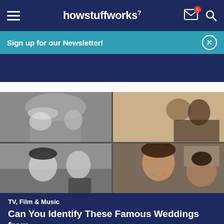howstuffworks
Sign up for our Newsletter!
[Figure (photo): Four-panel collage of famous celebrity wedding and couple photos: top-left black and white bride and groom kissing, top-right color photo of couple kissing at event, bottom-left black and white couple portrait, bottom-right color photo of young man and woman at event.]
TV, Film & Music
Can You Identify These Famous Weddings from